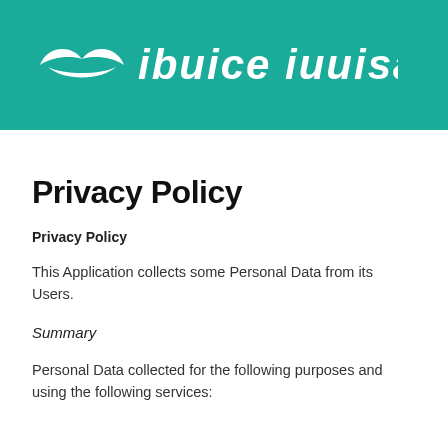[Figure (logo): Company logo with stylized white wing/leaf icon and white text on teal background]
Privacy Policy
Privacy Policy
This Application collects some Personal Data from its Users.
Summary
Personal Data collected for the following purposes and using the following services: